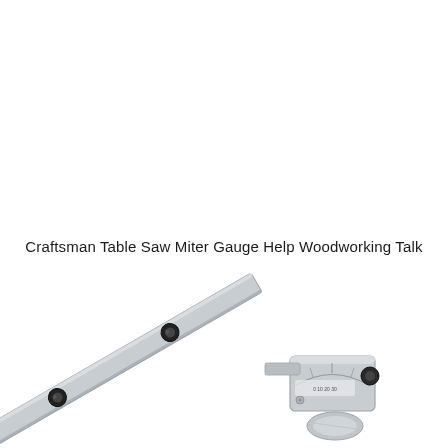Craftsman Table Saw Miter Gauge Help Woodworking Talk
[Figure (photo): A Craftsman table saw miter gauge shown at an angle. The gauge has a long silver/aluminum bar extending diagonally from upper-left to lower-right, with two black circular knobs/bolts along the bar. At the lower-right end is the miter gauge head assembly with a protractor-style body, a locking knob, and a handle.]